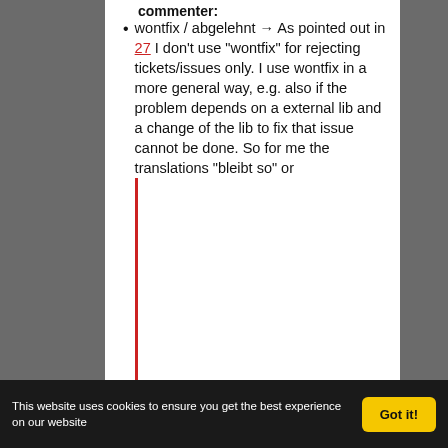commenter:
wontfix / abgelehnt → As pointed out in 27 I don't use "wontfix" for rejecting tickets/issues only. I use wontfix in a more general way, e.g. also if the problem depends on a external lib and a change of the lib to fix that issue cannot be done. So for me the translations "bleibt so" or ...
This website uses cookies to ensure you get the best experience on our website   Got it!